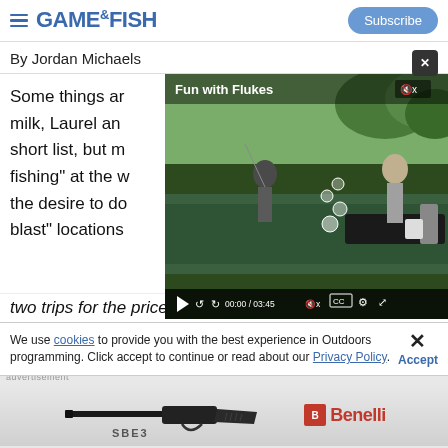GAME&FISH | Subscribe
By Jordan Michaels
Some things are... milk, Laurel and... short list, but m... fishing" at the w... the desire to do... blast" locations... two trips for the price of one — no matter your
[Figure (screenshot): Video player overlay titled 'Fun with Flukes' showing two people fishing from a boat on a green river. Video duration shown as 00:00 / 03:45 with playback controls.]
We use cookies to provide you with the best experience in Outdoors programming. Click accept to continue or read about our Privacy Policy.
[Figure (photo): Benelli SBE3 shotgun advertisement showing a black semi-automatic shotgun with the Benelli logo and SBE3 text.]